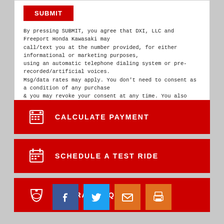SUBMIT
By pressing SUBMIT, you agree that DXI, LLC and Freeport Honda Kawasaki may call/text you at the number provided, for either informational or marketing purposes, using an automatic telephone dialing system or pre-recorded/artificial voices. Msg/data rates may apply. You don't need to consent as a condition of any purchase & you may revoke your consent at any time. You also agree to our Privacy Statement & Terms of Use.
CALCULATE PAYMENT
SCHEDULE A TEST RIDE
INSURANCE QUOTE
[Figure (other): Row of four social share icons: Facebook (blue), Twitter (blue), Email (orange), Print (orange)]